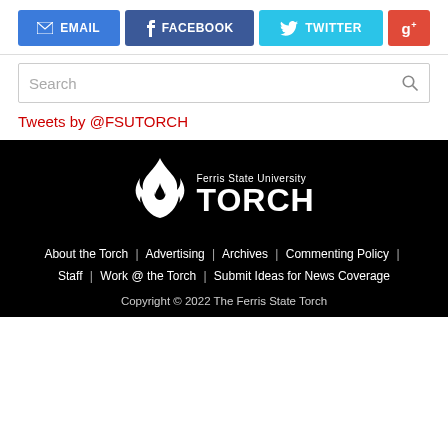EMAIL
FACEBOOK
TWITTER
g+
Search
Tweets by @FSUTORCH
[Figure (logo): Ferris State University TORCH logo — white flame icon with 'Ferris State University' above 'TORCH' in white text on black background]
About the Torch | Advertising | Archives | Commenting Policy | Staff | Work @ the Torch | Submit Ideas for News Coverage
Copyright © 2022 The Ferris State Torch